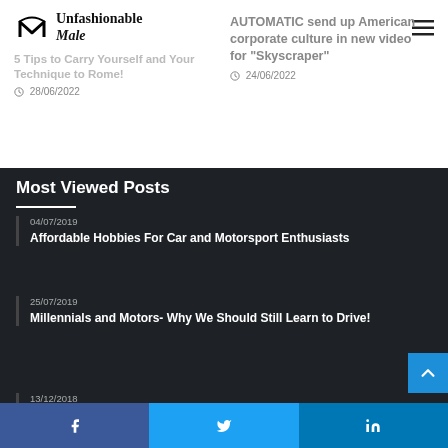Unfashionable Male
5 Tips to Carry Yourself and Your Technique to Rome! — 28/06/2022
AUTOMATIC send up American corporate culture in new video for “Skyscraper” — 24/06/2022
Most Viewed Posts
04/07/2019 — Affordable Hobbies For Car and Motorsport Enthusiasts
25/07/2019 — Millennials and Motors- Why We Should Still Learn to Drive!
13/12/2018
Facebook  Twitter  in